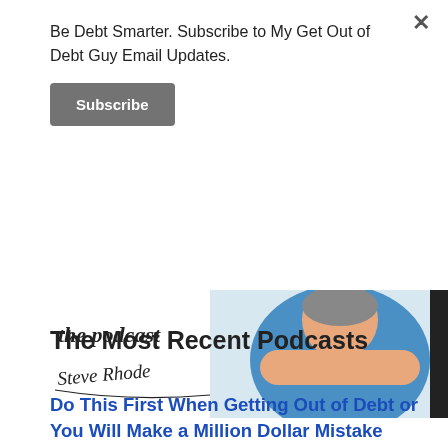Be Debt Smarter. Subscribe to My Get Out of Debt Guy Email Updates.
Subscribe
[Figure (illustration): Podcast banner illustration showing 'the podcast' text with a cursive signature 'Steve Rhode' and a figure of a person in a blue shirt with arms crossed against a grey background.]
The Most Recent Podcasts
Do This First When Getting Out of Debt or You Will Make a Million Dollar Mistake